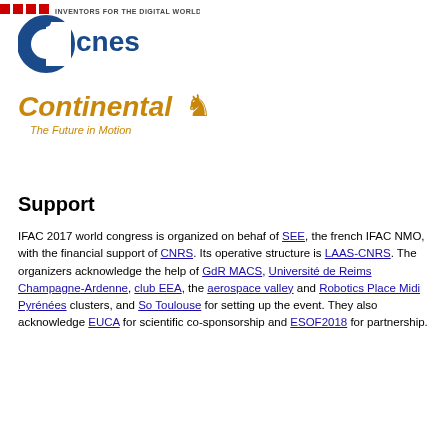[Figure (logo): Infineon/STMicro-like logo with text INVENTORS FOR THE DIGITAL WORLD]
[Figure (logo): CNES logo - blue circle with C shape and cnes text in blue]
[Figure (logo): Continental logo - golden text Continental with horse figure and tagline The Future in Motion]
Support
IFAC 2017 world congress is organized on behaf of SEE, the french IFAC NMO, with the financial support of CNRS. Its operative structure is LAAS-CNRS. The organizers acknowledge the help of GdR MACS, Université de Reims Champagne-Ardenne, club EEA, the aerospace valley and Robotics Place Midi Pyrénées clusters, and So Toulouse for setting up the event. They also acknowledge EUCA for scientific co-sponsorship and ESOF2018 for partnership.